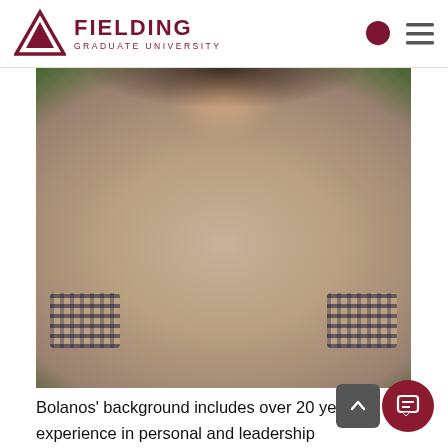Fielding Graduate University
[Figure (photo): Cropped photo of a woman wearing a patterned wrap dress with V-neckline and 3/4 sleeves with patterned cuffs, standing in front of green foliage background]
Bolanos' background includes over 20 years experience in personal and leadership development, support of academics, executives, and entrepreneurs. Her passion is helping others